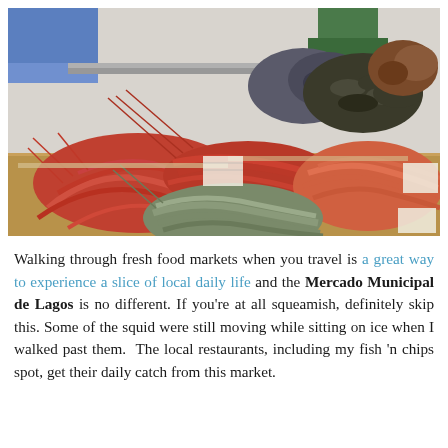[Figure (photo): A seafood market display showing various fresh seafood including shrimp, prawns, mussels, a large fish head, and other shellfish arranged on trays on a wooden market counter.]
Walking through fresh food markets when you travel is a great way to experience a slice of local daily life and the Mercado Municipal de Lagos is no different. If you're at all squeamish, definitely skip this. Some of the squid were still moving while sitting on ice when I walked past them. The local restaurants, including my fish 'n chips spot, get their daily catch from this market.